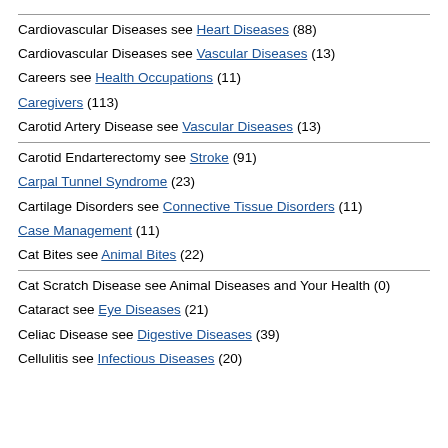Cardiovascular Diseases see Heart Diseases (88)
Cardiovascular Diseases see Vascular Diseases (13)
Careers see Health Occupations (11)
Caregivers (113)
Carotid Artery Disease see Vascular Diseases (13)
Carotid Endarterectomy see Stroke (91)
Carpal Tunnel Syndrome (23)
Cartilage Disorders see Connective Tissue Disorders (11)
Case Management (11)
Cat Bites see Animal Bites (22)
Cat Scratch Disease see Animal Diseases and Your Health (0)
Cataract see Eye Diseases (21)
Celiac Disease see Digestive Diseases (39)
Cellulitis see Infectious Diseases (20)